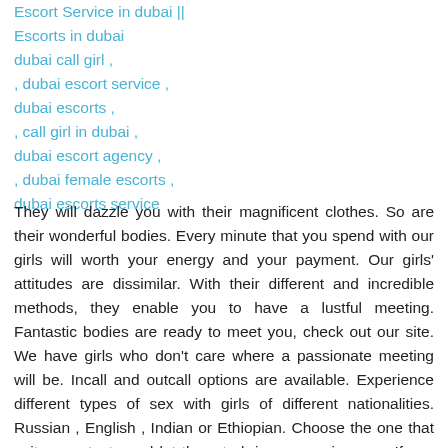Escort Service in dubai || Escorts in dubai
dubai call girl ,
, dubai escort service ,
dubai escorts ,
, call girl in dubai ,
dubai escort agency ,
, dubai female escorts ,
dubai escorts service
They will dazzle you with their magnificent clothes. So are their wonderful bodies. Every minute that you spend with our girls will worth your energy and your payment. Our girls' attitudes are dissimilar. With their different and incredible methods, they enable you to have a lustful meeting. Fantastic bodies are ready to meet you, check out our site. We have girls who don't care where a passionate meeting will be. Incall and outcall options are available. Experience different types of sex with girls of different nationalities. Russian , English , Indian or Ethiopian. Choose the one that suits your taste and let them to bring concupiscence. If you want elite and quality Dubai escorts to keep you company on a dinner or a lonely night , check up on our